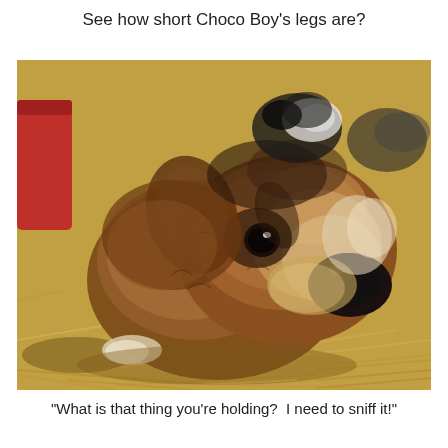See how short Choco Boy's legs are?
[Figure (photo): A small brown fluffy puppy with short legs lying on straw/hay. Other puppies are visible in the background. The puppy is looking up at the camera with dark eyes and a dark nose.]
"What is that thing you're holding?  I need to sniff it!"